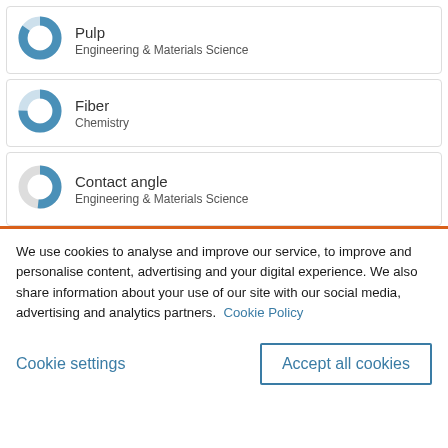Pulp — Engineering & Materials Science
Fiber — Chemistry
Contact angle — Engineering & Materials Science
We use cookies to analyse and improve our service, to improve and personalise content, advertising and your digital experience. We also share information about your use of our site with our social media, advertising and analytics partners.  Cookie Policy
Cookie settings
Accept all cookies